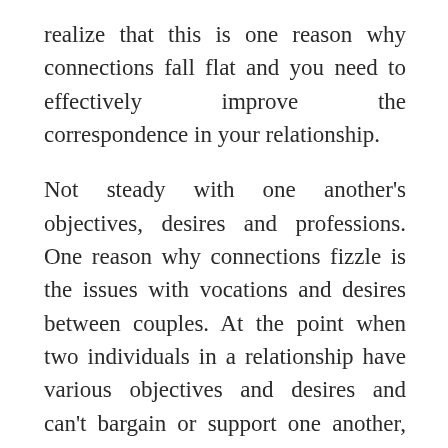realize that this is one reason why connections fall flat and you need to effectively improve the correspondence in your relationship.
Not steady with one another's objectives, desires and professions. One reason why connections fizzle is the issues with vocations and desires between couples. At the point when two individuals in a relationship have various objectives and desires and can't bargain or support one another, the relationship may endure eventually. It is given that two individuals normally have various desires and